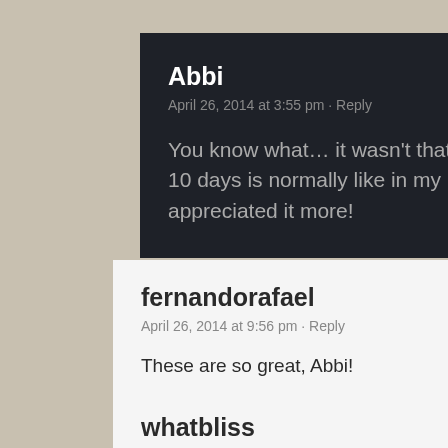Abbi
April 26, 2014 at 3:55 pm · Reply

You know what… it wasn't that different from what 10 days is normally like in my life but I sure appreciated it more!
fernandorafael
April 26, 2014 at 9:56 pm · Reply

These are so great, Abbi!
whatbliss